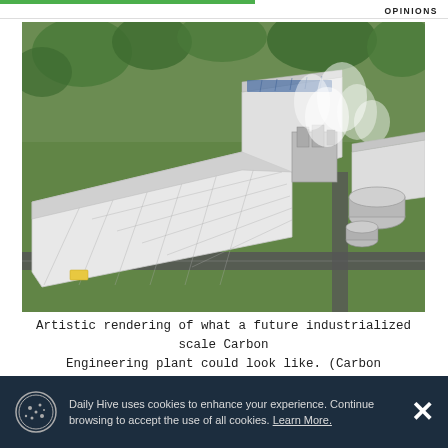OPINIONS
[Figure (illustration): Artistic rendering (3D aerial view) of a future industrialized scale Carbon Engineering plant, showing large rectangular industrial buildings with glass facades, cylindrical storage tanks, processing equipment, roads, and surrounding green landscape with trees and steam/vapor clouds.]
Artistic rendering of what a future industrialized scale Carbon Engineering plant could look like. (Carbon Engineering)
Daily Hive uses cookies to enhance your experience. Continue browsing to accept the use of all cookies. Learn More.